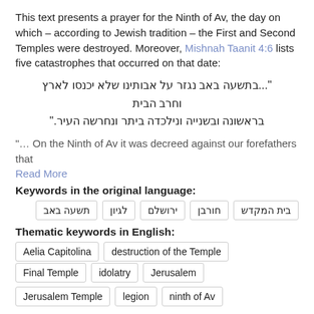This text presents a prayer for the Ninth of Av, the day on which – according to Jewish tradition – the First and Second Temples were destroyed. Moreover, Mishnah Taanit 4:6 lists five catastrophes that occurred on that date:
"...בתשעה באב נגזר על אבותינו שלא יכנסו לארץ וחרב הבית בראשונה ובשנייה ונילכדה ביתר ונחרשה העיר."
"… On the Ninth of Av it was decreed against our forefathers that
Read More
Keywords in the original language:
בית המקדש
חורבן
ירושלם
לגיון
תשעה באב
Thematic keywords in English:
Aelia Capitolina
destruction of the Temple
Final Temple
idolatry
Jerusalem
Jerusalem Temple
legion
ninth of Av